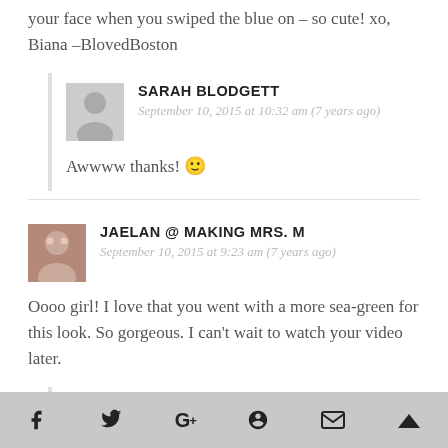your face when you swiped the blue on – so cute! xo, Biana –BlovedBoston
SARAH BLODGETT
September 10, 2015 at 10:32 am (7 years ago)
Awwww thanks! 🙂
JAELAN @ MAKING MRS. M
September 10, 2015 at 9:23 am (7 years ago)
Oooo girl! I love that you went with a more sea-green for this look. So gorgeous. I can't wait to watch your video later.
SARAH BLODGETT
Social sharing icons: Facebook, Twitter, Google+, Pinterest, Email, Crown